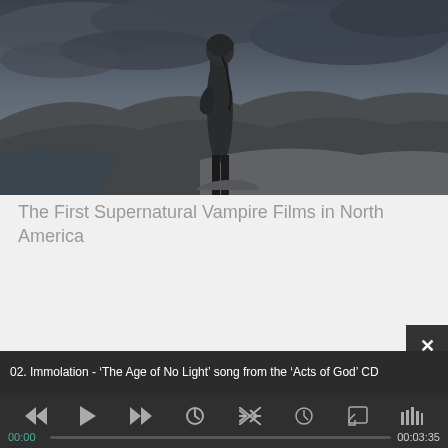[Figure (photo): A person in a dark hooded coat standing on a rocky mountain overlook with dramatic cloudy sky and landscape below, desaturated moody tones]
The First Supernatural Vampire Films in North America
02. Immolation - ‘The Age of No Light’ song from the ‘Acts of God’ CD
00:00   00:03:35